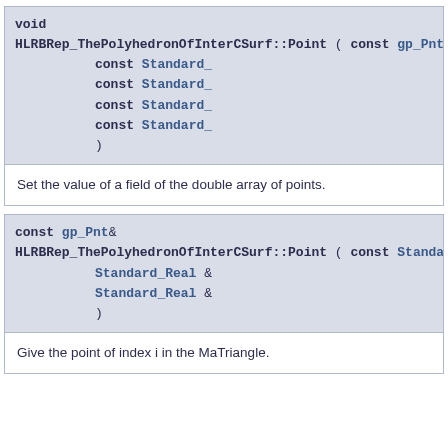void
HLRBRep_ThePolyhedronOfInterCSurf::Point ( const gp_Pnt &
    const Standard_
    const Standard_
    const Standard_
    const Standard_
    )
Set the value of a field of the double array of points.
const gp_Pnt&
HLRBRep_ThePolyhedronOfInterCSurf::Point ( const Standard_
    Standard_Real &
    Standard_Real &
    )
Give the point of index i in the MaTriangle.